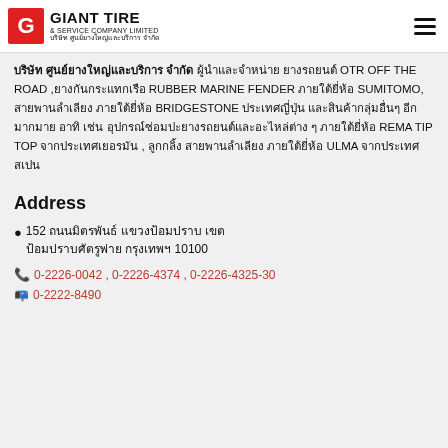GIANT TIRE & SERVICE COMPANY LIMITED บริษัท ศูนย์ยางใหญ่และบริการ จำกัด
บริษัท ศูนย์ยางใหญ่และบริการ จำกัด ผู้นำและจำหน่ายยางรถยนต์ OTR OFF THE ROAD ,ยางกันกระแทกเรือ RUBBER MARINE FENDER ภายใต้ยี่ห้อ SUMITOMO, สายพานลำเลียง ภายใต้ยี่ห้อ BRIDGESTONE ประเทศญี่ปุ่น และสินค้ากลุ่มอื่นๆ อีกมากมาย อาทิ เช่น อุปกรณ์ซ่อมปะยางรถยนต์และอะไหล่ต่าง ๆ ภายใต้ยี่ห้อ REMA TIP TOP จากประเทศเยอรมัน , ลูกกลิ้งสายพานลำเลียง ภายใต้ยี่ห้อ ULMA จากประเทศสเปน
Address
152 ถนนมิตรพันธ์ แขวงป้อมปราบ เขตป้อมปราบศัตรูพ่าย กรุงเทพฯ 10100
0-2226-0042 , 0-2226-4374 , 0-2226-4325-30
0-2222-8490